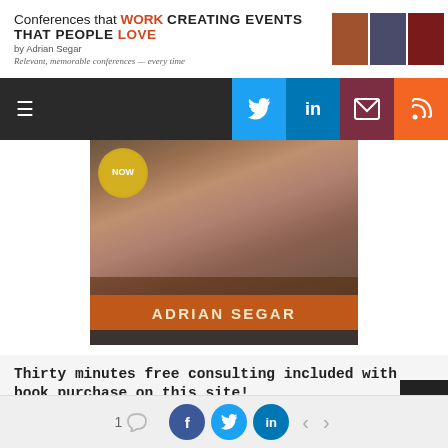Conferences that WORK — CREATING EVENTS THAT PEOPLE LOVE by Adrian Segar. Relevant, memorable conferences — every time
[Figure (screenshot): Navigation bar with hamburger menu icon and Twitter, LinkedIn, email, RSS social buttons]
[Figure (photo): Book cover banner showing people at a conference with 'ADRIAN SEGAR' text on an orange/brown background and a 'NOW' burst graphic]
Thirty minutes free consulting included with book purchase on this site!
Download five free chapters of each book!
Where To Buy
Purchase all 3 eBooks ($29.99); single eBook ($11) or paperback ($26) or both ($32) at lowest available
1 comment | Facebook | Twitter | LinkedIn | navigation arrows